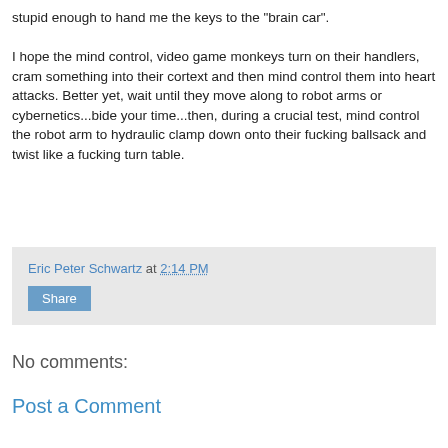stupid enough to hand me the keys to the "brain car".

I hope the mind control, video game monkeys turn on their handlers, cram something into their cortext and then mind control them into heart attacks. Better yet, wait until they move along to robot arms or cybernetics...bide your time...then, during a crucial test, mind control the robot arm to hydraulic clamp down onto their fucking ballsack and twist like a fucking turn table.
Eric Peter Schwartz at 2:14 PM
Share
No comments:
Post a Comment